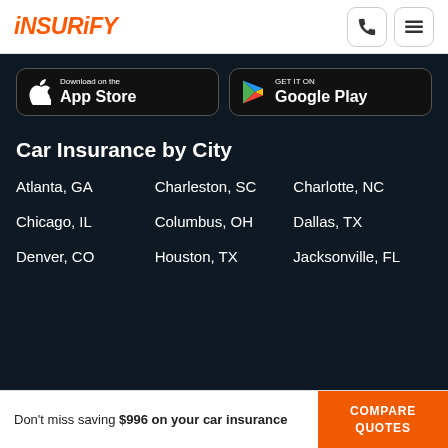INSURIFY
[Figure (screenshot): App Store and Google Play download buttons on dark background]
Car Insurance by City
Atlanta, GA
Charleston, SC
Charlotte, NC
Chicago, IL
Columbus, OH
Dallas, TX
Denver, CO
Houston, TX
Jacksonville, FL
Don't miss saving $996 on your car insurance  COMPARE QUOTES